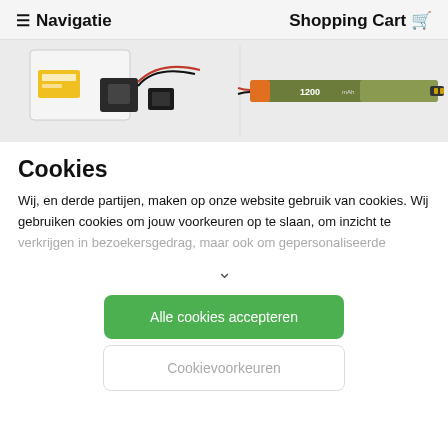☰ Navigatie   Shopping Cart 🛒
[Figure (photo): Product photo showing battery charger kit with cables on left side and a slim LiPo battery pack (1200mAh) on the right side, on a light grey background.]
Cookies
Wij, en derde partijen, maken op onze website gebruik van cookies. Wij gebruiken cookies om jouw voorkeuren op te slaan, om inzicht te
verkrijgen in bezoekersgedrag, maar ook om gepersonaliseerde
∨
Alle cookies accepteren
Cookievoorkeuren